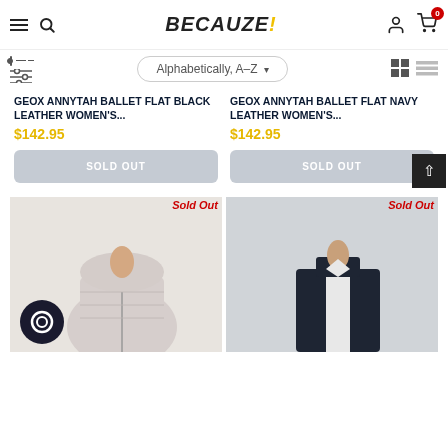BECAUZE! — navigation bar with hamburger, search, account, cart (0)
Alphabetically, A-Z — sort/filter bar with grid and list view icons
GEOX ANNYTAH BALLET FLAT BLACK LEATHER WOMEN'S...
$142.95
SOLD OUT
GEOX ANNYTAH BALLET FLAT NAVY LEATHER WOMEN'S...
$142.95
SOLD OUT
Sold Out
[Figure (photo): White/cream puffer jacket on model, chat bubble icon overlay]
Sold Out
[Figure (photo): Dark navy vest/gilet on model]